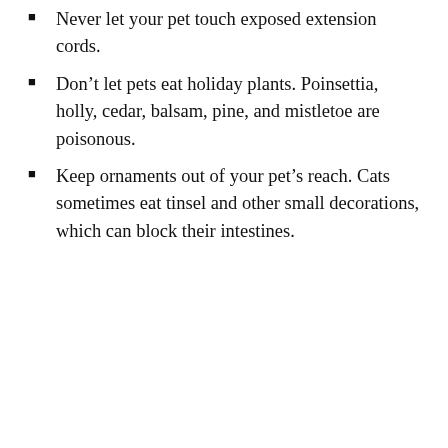Never let your pet touch exposed extension cords.
Don't let pets eat holiday plants. Poinsettia, holly, cedar, balsam, pine, and mistletoe are poisonous.
Keep ornaments out of your pet's reach. Cats sometimes eat tinsel and other small decorations, which can block their intestines.